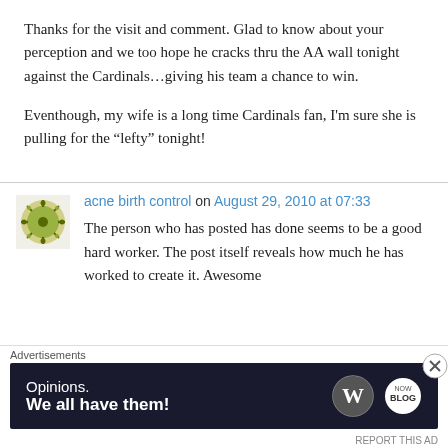Thanks for the visit and comment. Glad to know about your perception and we too hope he cracks thru the AA wall tonight against the Cardinals…giving his team a chance to win.

Eventhough, my wife is a long time Cardinals fan, I'm sure she is pulling for the “lefty” tonight!
acne birth control on August 29, 2010 at 07:33
The person who has posted has done seems to be a good hard worker. The post itself reveals how much he has worked to create it. Awesome
Advertisements
[Figure (other): WordPress advertisement banner with dark navy background. Text reads 'Opinions. We all have them!' with WordPress logo (W in circle) and another circular logo on the right.]